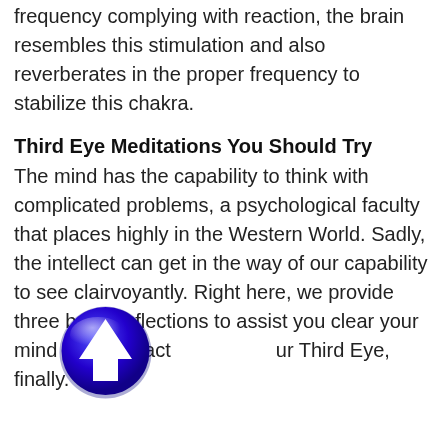frequency complying with reaction, the brain resembles this stimulation and also reverberates in the proper frequency to stabilize this chakra.
Third Eye Meditations You Should Try
The mind has the capability to think with complicated problems, a psychological faculty that places highly in the Western World. Sadly, the intellect can get in the way of our capability to see clairvoyantly. Right here, we provide three basic reflections to assist you clear your mind and also activate your Third Eye, finally.
[Figure (illustration): A blue circular icon with a white upward-pointing arrow, resembling a navigation/direction button with a glossy 3D effect.]
Stare At The Carrot
Don't you just like it when you obtain a glance of the macrocosm in the microcosm? It is like enjoying the advancement of our types in the entire procedure between the